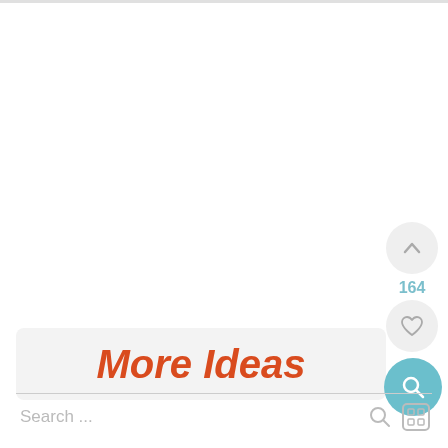[Figure (screenshot): Mobile app UI screenshot showing a white content area at top, a 'More Ideas' button in italic orange-red text on a light gray rounded background, floating action buttons on the right side (up arrow button, heart/like button, teal search button) with a count of 164, and a search bar at the bottom with placeholder text 'Search ...' and search and grid icons.]
More Ideas
164
Search ...